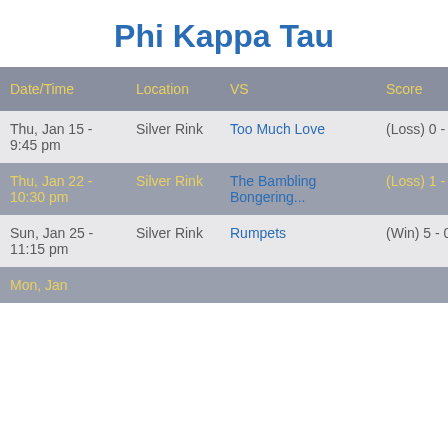Phi Kappa Tau
| Date/Time | Location | VS | Score | Goals |
| --- | --- | --- | --- | --- |
| Thu, Jan 15 - 9:45 pm | Silver Rink | Too Much Love | (Loss) 0 - 4 | 0 |
| Thu, Jan 22 - 10:30 pm | Silver Rink | The Bambling Bongering... | (Loss) 1 - 2 | 0 |
| Sun, Jan 25 - 11:15 pm | Silver Rink | Rumpets | (Win) 5 - 0 | 0 |
| Mon, Jan ... |  |  |  |  |